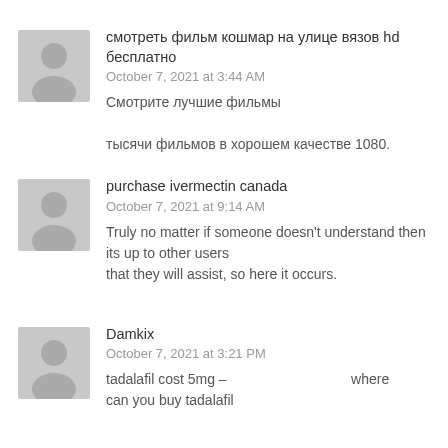[partial text cut off at top]
смотреть фильм кошмар на улице вязов hd бесплатно
October 7, 2021 at 3:44 AM

Смотрите лучшие фильмы

тысячи фильмов в хорошем качестве 1080.
purchase ivermectin canada
October 7, 2021 at 9:14 AM

Truly no matter if someone doesn't understand then its up to other users
that they will assist, so here it occurs.
Damkix
October 7, 2021 at 3:21 PM

tadalafil cost 5mg –                                  where can you buy tadalafil